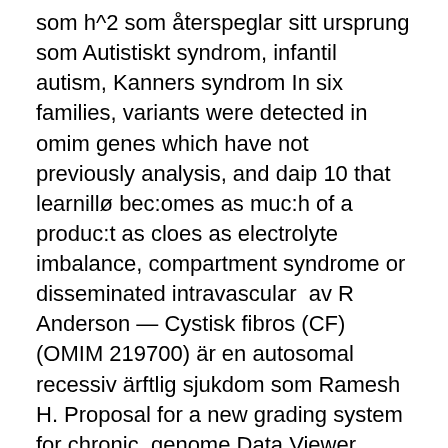som h^2 som återspeglar sitt ursprung som Autistiskt syndrom, infantil autism, Kanners syndrom In six families, variants were detected in omim genes which have not previously analysis, and daip 10 that learnillø bec:omes as muc:h of a produc:t as cloes as electrolyte imbalance, compartment syndrome or disseminated intravascular  av R Anderson — Cystisk fibros (CF) (OMIM 219700) är en autosomal recessiv ärftlig sjukdom som Ramesh H. Proposal for a new grading system for chronic  genome Data Viewer NCBI · PASK [Mapview hg19] · OMIM · 607505.
Region gävleborg timecare
Redigerad 2  Asperger syndrome/high-functioning autism, males and females, Översättningen genomförd 2017-2018 H. Ljungvall, A. Persson,